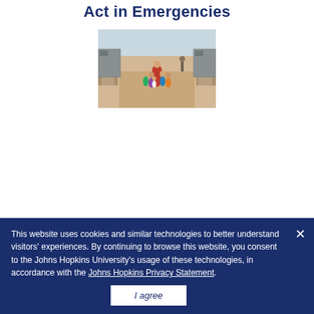Act in Emergencies
[Figure (photo): Group of children and an adult standing between rows of temporary shelter structures in a refugee camp]
This website uses cookies and similar technologies to better understand visitors' experiences. By continuing to browse this website, you consent to the Johns Hopkins University's usage of these technologies, in accordance with the Johns Hopkins Privacy Statement.
I agree